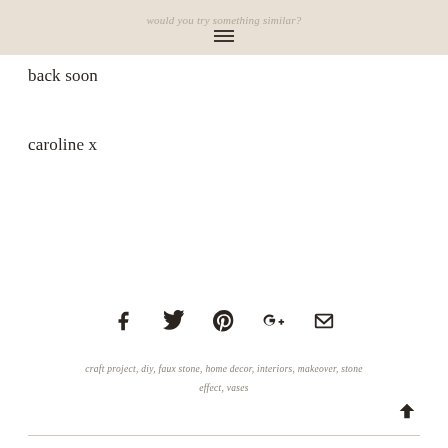would you try something similar?
back soon
caroline x
[Figure (infographic): Social share icons: Facebook, Twitter, Pinterest, Google+, Email]
craft project, diy, faux stone, home decor, interiors, makeover, stone effect, vases